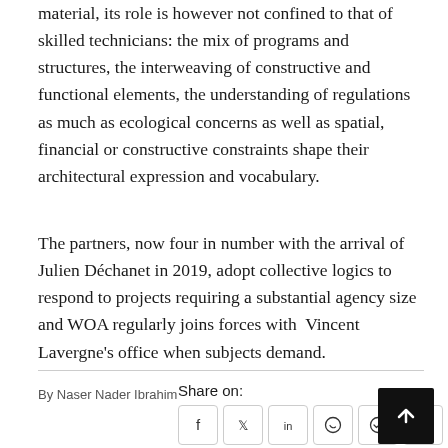material, its role is however not confined to that of skilled technicians: the mix of programs and structures, the interweaving of constructive and functional elements, the understanding of regulations as much as ecological concerns as well as spatial, financial or constructive constraints shape their architectural expression and vocabulary.
The partners, now four in number with the arrival of Julien Déchanet in 2019, adopt collective logics to respond to projects requiring a substantial agency size and WOA regularly joins forces with  Vincent Lavergne's office when subjects demand.
By Naser Nader Ibrahim
Share on: